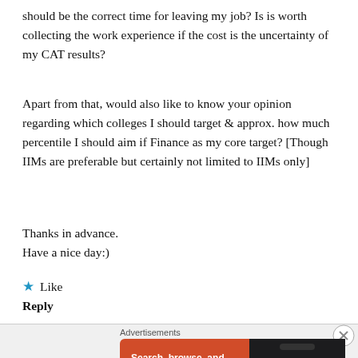should be the correct time for leaving my job? Is is worth collecting the work experience if the cost is the uncertainty of my CAT results?
Apart from that, would also like to know your opinion regarding which colleges I should target & approx. how much percentile I should aim if Finance as my core target? [Though IIMs are preferable but certainly not limited to IIMs only]
Thanks in advance.
Have a nice day:)
★ Like
Reply
[Figure (infographic): DuckDuckGo advertisement banner with orange background. Text: 'Search, browse, and email with more privacy. All in One Free App'. Shows a smartphone with DuckDuckGo logo.]